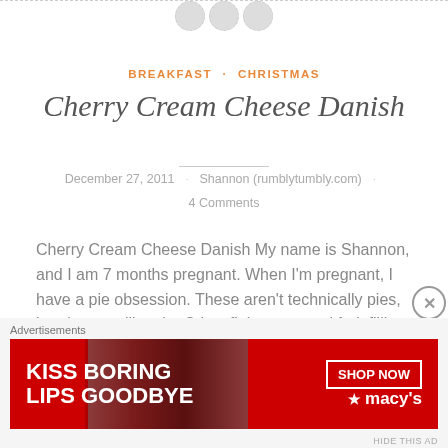BREAKFAST · CHRISTMAS
Cherry Cream Cheese Danish
December 27, 2011 · Shannon (rumblytumbly.com) · 4 Comments
Cherry Cream Cheese Danish My name is Shannon, and I am 7 months pregnant. When I'm pregnant, I have a pie obsession. These aren't technically pies, but they are like pie. Crisp, flaky crust and fruit filling. And much less work than making a whole pie. As I was doing my Christ...
[Figure (photo): Advertisement banner: red background with woman's face showing red lips, text 'KISS BORING LIPS GOODBYE', 'SHOP NOW', and Macy's logo]